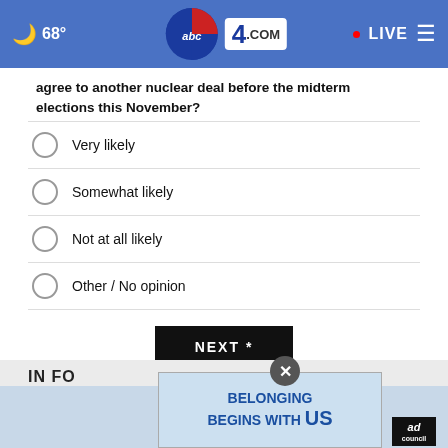68° abc4.com LIVE
agree to another nuclear deal before the midterm elections this November?
Very likely
Somewhat likely
Not at all likely
Other / No opinion
NEXT *
* By clicking "NEXT" you agree to the following: We use cookies to track your survey answers. If you would like to continue with this survey, please read and agree to the CivicScience Privacy Policy and Terms of Service
IN FO
[Figure (screenshot): Ad banner: BELONGING BEGINS WITH US with Ad Council logo]